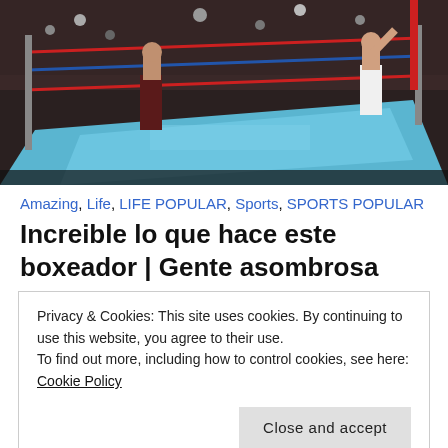[Figure (photo): Boxing ring with two boxers, crowd in background, blue canvas floor, red and blue ropes]
Amazing, Life, LIFE POPULAR, Sports, SPORTS POPULAR
Increible lo que hace este boxeador | Gente asombrosa
Privacy & Cookies: This site uses cookies. By continuing to use this website, you agree to their use.
To find out more, including how to control cookies, see here: Cookie Policy
[Figure (photo): Black and white photo of crowd at boxing event, bottom strip]